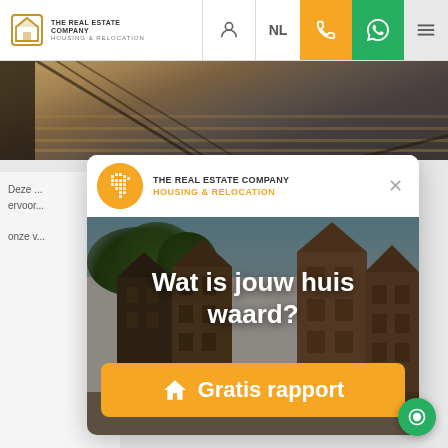THE REAL ESTATE COMPANY HOUSING & RELOCATION — NL
[Figure (photo): Partial view of interior floor/staircase photo at top of page]
Deze ... ervoord... onze v...
[Figure (infographic): Modal popup card for The Real Estate Company Housing & Relocation showing Amsterdam canal houses with overlay text 'Wat is jouw huis waard?' and orange 'Gratis rapport' button]